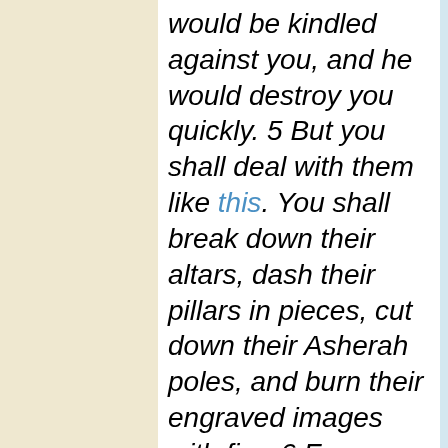would be kindled against you, and he would destroy you quickly. 5 But you shall deal with them like this. You shall break down their altars, dash their pillars in pieces, cut down their Asherah poles, and burn their engraved images with fire. 6 For you are a holy people to Yahweh your God. Yahweh your God